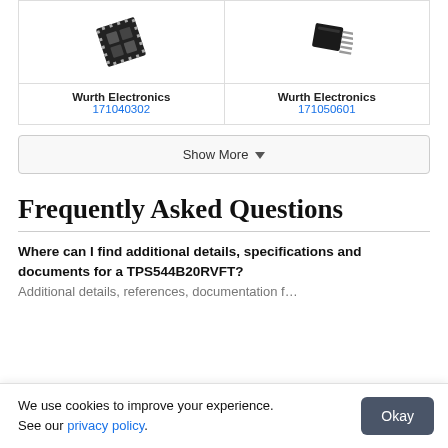[Figure (photo): Electronic chip component (LGA/BGA package) from Wurth Electronics, part number 171040302]
Wurth Electronics
171040302
[Figure (photo): Electronic chip component (TO package with pins) from Wurth Electronics, part number 171050601]
Wurth Electronics
171050601
Show More
Frequently Asked Questions
Where can I find additional details, specifications and documents for a TPS544B20RVFT?
We use cookies to improve your experience. See our privacy policy.